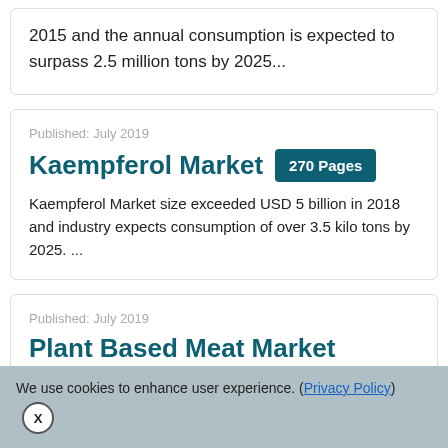2015 and the annual consumption is expected to surpass 2.5 million tons by 2025...
Published: July 2019
Kaempferol Market
270 Pages
Kaempferol Market size exceeded USD 5 billion in 2018 and industry expects consumption of over 3.5 kilo tons by 2025. ...
Published: July 2019
Plant Based Meat Market
We use cookies to enhance user experience. (Privacy Policy)